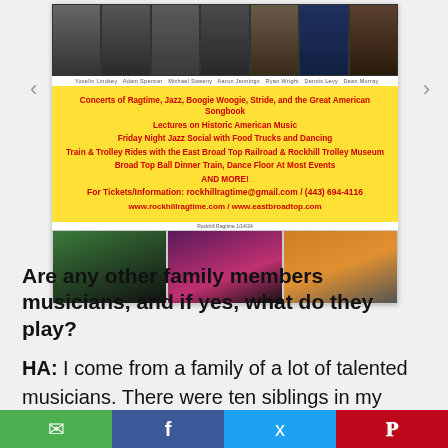[Figure (photo): Slideshow card showing musicians at top in a strip of photos, yellow promotional box for Rockhill Ragtime Festival listing concerts, lectures, train/trolley rides, and contact info, then three photos at bottom showing a train, musicians performing, and a trolley. Navigation arrows on left and right.]
Are any other family members musicians, and if yes, what do they play?
HA: I come from a family of a lot of talented musicians. There were ten siblings in my grandmother's family and they all played well.